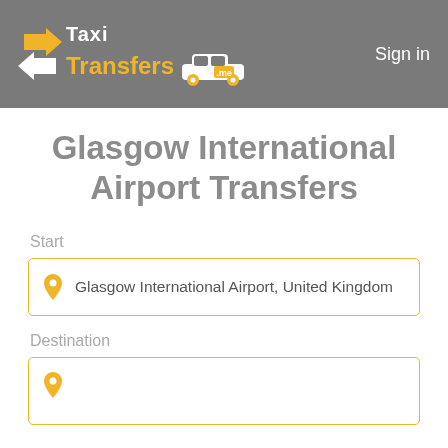TaxiTransfers.me — Sign in
Glasgow International Airport Transfers
Start
Glasgow International Airport, United Kingdom
Destination